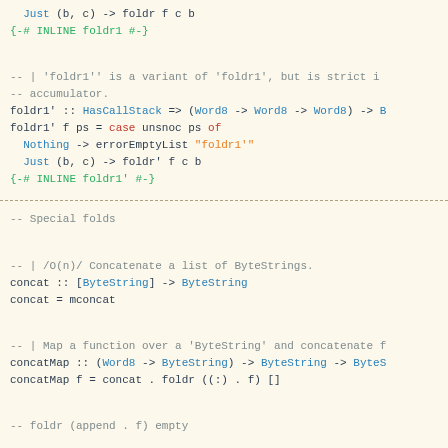Just (b, c) -> foldr f c b
{-# INLINE foldr1 #-}
-- | 'foldr1'' is a variant of 'foldr1', but is strict in the
-- accumulator.
foldr1' :: HasCallStack => (Word8 -> Word8 -> Word8) -> B...
foldr1' f ps = case unsnoc ps of
  Nothing -> errorEmptyList "foldr1'"
  Just (b, c) -> foldr' f c b
{-# INLINE foldr1' #-}
-- Special folds
-- | /O(n)/ Concatenate a list of ByteStrings.
concat :: [ByteString] -> ByteString
concat = mconcat
-- | Map a function over a 'ByteString' and concatenate f...
concatMap :: (Word8 -> ByteString) -> ByteString -> ByteS...
concatMap f = concat . foldr ((:) . f) []
-- foldr (append . f) empty
-- | /O(n)/ Applied to a predicate and a ByteString, 'any...
-- any element of the 'ByteString' satisfies the predica...
any :: (Word8 -> Bool) -> ByteString -> Bool
any _ (BS _ 0)    = False
any f (BS x len) = accursedUnutterablePerformIO $ unsafeW...
  where
    ...